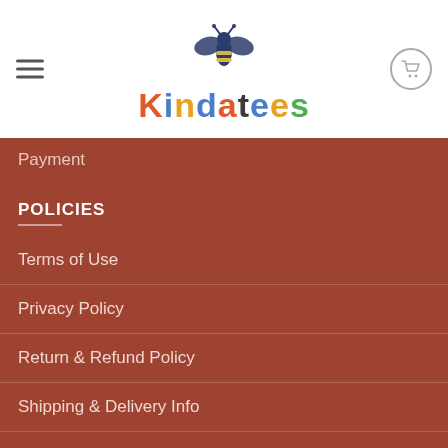[Figure (logo): Kindatees logo with bee icon above colorful brand name text]
Payment
POLICIES
Terms of Use
Privacy Policy
Return & Refund Policy
Shipping & Delivery Info
Taxes & Duties
SIGNUP FOR NEWSLETTER